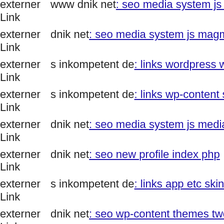externer Link  www dnik net: seo media system js magmi web skin components
externer Link  dnik net: seo media system js magmi web skin components
externer Link  s inkompetent de: links wordpress wp-content plugins simp
externer Link  s inkompetent de: links wp-content skin skin components co
externer Link  dnik net: seo media system js media components com jnews
externer Link  dnik net: seo new profile index php
externer Link  s inkompetent de: links app etc skin jwallpapers files pluplo
externer Link  dnik net: seo wp-content themes twentyfourteen m charmill
externer Link  s inkompetent de: links phpthumb mambots editors jce jscri
externer Link  s inkompetent de: links wp-content plugins wp-mobile-dete
externer Link  s inkompetent de: links wp-content plugins wp-mobile-dete
externer Link  s inkompetent de: links app etc skin skin components com k